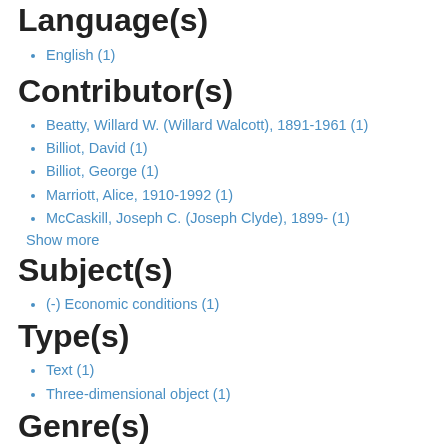Language(s)
English (1)
Contributor(s)
Beatty, Willard W. (Willard Walcott), 1891-1961 (1)
Billiot, David (1)
Billiot, George (1)
Marriott, Alice, 1910-1992 (1)
McCaskill, Joseph C. (Joseph Clyde), 1899- (1)
Show more
Subject(s)
(-) Economic conditions (1)
Type(s)
Text (1)
Three-dimensional object (1)
Genre(s)
Correspondence (1)